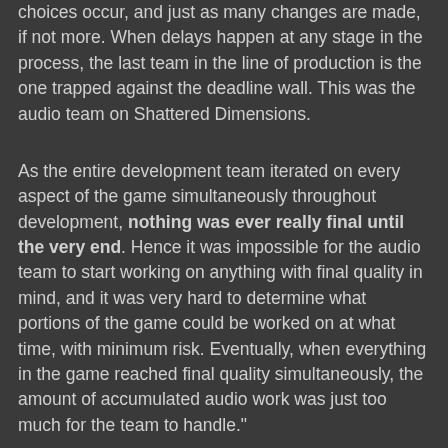choices occur, and just as many changes are made, if not more. When delays happen at any stage in the process, the last team in the line of production is the one trapped against the deadline wall. This was the audio team on Shattered Dimensions.
As the entire development team iterated on every aspect of the game simultaneously throughout development, nothing was ever really final until the very end. Hence it was impossible for the audio team to start working on anything with final quality in mind, and it was very hard to determine what portions of the game could be worked on at what time, with minimum risk. Eventually, when everything in the game reached final quality simultaneously, the amount of accumulated audio work was just too much for the team to handle."
You can read a preview of the article page which includes